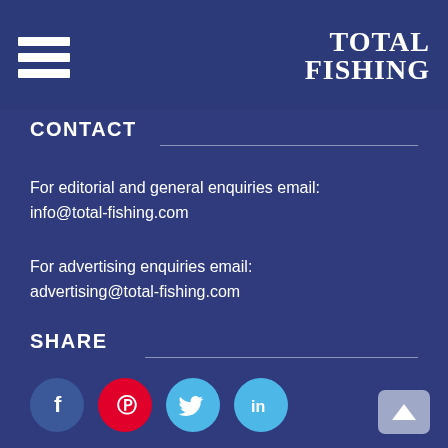TOTAL FISHING
CONTACT
For editorial and general enquiries email:
info@total-fishing.com
For advertising enquiries email:
advertising@total-fishing.com
SHARE
[Figure (infographic): Social media share icons: Facebook (blue circle with f), Pinterest (red circle with P logo), Twitter (light blue circle with bird), LinkedIn (light blue circle with in)]